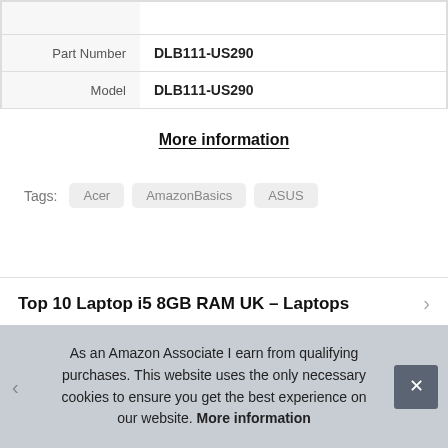| Part Number | DLB111-US290 |
| Model | DLB111-US290 |
More information
Tags: Acer  AmazonBasics  ASUS
Top 10 Laptop i5 8GB RAM UK – Laptops
As an Amazon Associate I earn from qualifying purchases. This website uses the only necessary cookies to ensure you get the best experience on our website. More information